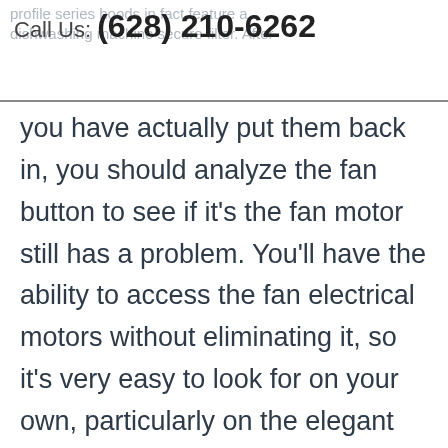profile series hoods in fact feature a Call Us: (628) 210-6262 dishwashing machine secure filter. After
you have actually put them back in, you should analyze the fan button to see if it's the fan motor still has a problem. You'll have the ability to access the fan electrical motors without eliminating it, so it's very easy to look for on your own, particularly on the elegant variety hood with cooktop light, makings it even simpler to discover the follower electric motors.Follower is Moving, yet Not Blowing AirIf the follower in your range